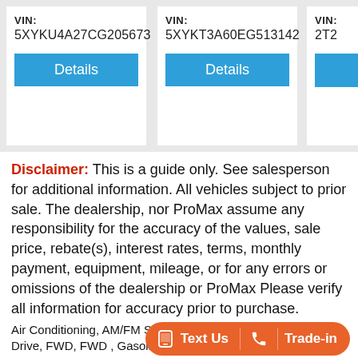[Figure (screenshot): Three vehicle listing cards showing VIN numbers and Details buttons. Left card VIN: 5XYKU4A27CG205673, middle card VIN: 5XYKT3A60EG513142, right card (partial) VIN: 2T2...]
Disclaimer: This is a guide only. See salesperson for additional information. All vehicles subject to prior sale. The dealership, nor ProMax assume any responsibility for the accuracy of the values, sale price, rebate(s), interest rates, terms, monthly payment, equipment, mileage, or for any errors or omissions of the dealership or ProMax Please verify all information for accuracy prior to purchase.
Air Conditioning, AM/FM Stereo, Cruise Control, Front Wheel Drive, FWD, FWD , Gasoline, Power Door Locks, Power Steering, Power Windows, BLACK, ABS (4-Wheel), Air Bags: Dual Front, Air Bags (Side): Front, Traction Control, Chevrolet, LT, StabiliTrak, Compact SUV, OnStar, Air Bags: F&R Head Curtain, Daytime Running Lights, Camera: Backup/Rear View, Automatic 6-Spd, BLACK, 2016, Rollover Protection, 4-Cyl ECOTEC Turbo 1.4L, Trax, Trax, 4d SUV FWD LT, SiriusXM Satellite Radio, Bluetooth Connection, Front Side Air Bag, Front Head Air Bag, Rear Head Air Bag, Child Safety Locks, Daytime Running Lights, Traction Control, Stability Control, Driver Air Bag, Passenger Air Bag, Passenger Air Bag Sensor, Tire Pressure M..., Power Steering, Pass-Through Rear Seat, ..., Lumbar, Tires - Rear All-Season, Tires - Front All-Season, Temporary Spare